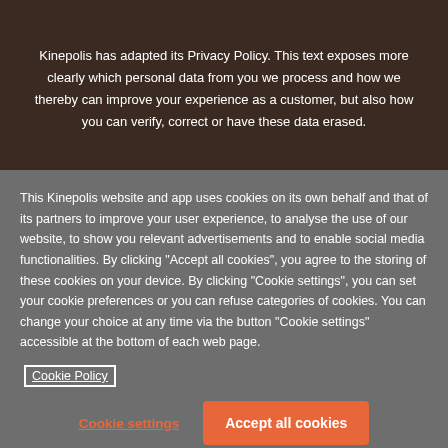Kinepolis has adapted its Privacy Policy. This text exposes more clearly which personal data from you we process and how we thereby can improve your experience as a customer, but also how you can verify, correct or have these data erased.
This Kinepolis website and app uses cookies on its own behalf and that of its partners to improve your user experience, to analyse the use of our website, to show you relevant advertisements and to enable social media functionalities. By clicking “Accept all cookies”, you agree to the storing of these cookies on your device. By clicking “Cookie settings”, you can set your cookie preferences or you can refuse categories of cookies. You can change your choice at any time via the button “Cookie settings” accessible at the bottom of each web page.
Cookie Policy
Cookie settings
Accept all cookies